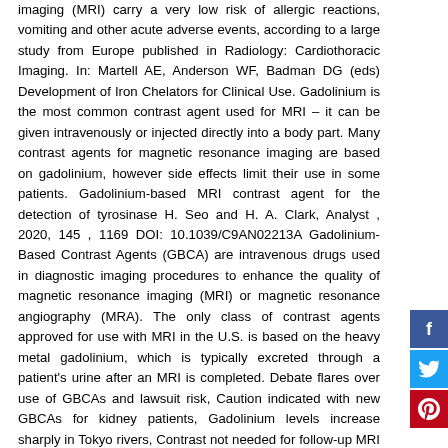imaging (MRI) carry a very low risk of allergic reactions, vomiting and other acute adverse events, according to a large study from Europe published in Radiology: Cardiothoracic Imaging. In: Martell AE, Anderson WF, Badman DG (eds) Development of Iron Chelators for Clinical Use. Gadolinium is the most common contrast agent used for MRI – it can be given intravenously or injected directly into a body part. Many contrast agents for magnetic resonance imaging are based on gadolinium, however side effects limit their use in some patients. Gadolinium-based MRI contrast agent for the detection of tyrosinase H. Seo and H. A. Clark, Analyst , 2020, 145 , 1169 DOI: 10.1039/C9AN02213A Gadolinium-Based Contrast Agents (GBCA) are intravenous drugs used in diagnostic imaging procedures to enhance the quality of magnetic resonance imaging (MRI) or magnetic resonance angiography (MRA). The only class of contrast agents approved for use with MRI in the U.S. is based on the heavy metal gadolinium, which is typically excreted through a patient's urine after an MRI is completed. Debate flares over use of GBCAs and lawsuit risk, Caution indicated with new GBCAs for kidney patients, Gadolinium levels increase sharply in Tokyo rivers, Contrast not needed for follow-up MRI on MS patients, Research road map drives inquiry into gadolinium's effects, A new tool for enhanced ultrasound visualization and measurements. MRI contrast agents contain a rare earth metal called gadolinium that interacts with the magnetic field emitted by the MRI machines. Side effects include nephrogenic systemic fibrosis (NSF), which is associated with gadolinium-based contrast agents in patients with severe kidney disease.